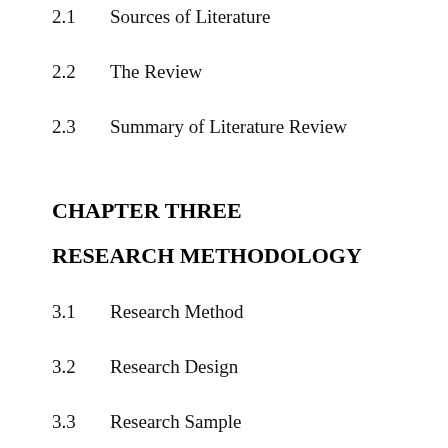2.1    Sources of Literature
2.2    The Review
2.3    Summary of Literature Review
CHAPTER THREE
RESEARCH METHODOLOGY
3.1    Research Method
3.2    Research Design
3.3    Research Sample